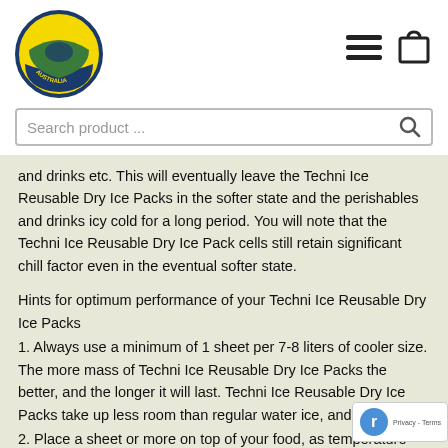[Figure (logo): Made in Australia circular logo with kangaroo, yellow and blue colors]
[Figure (other): Hamburger menu icon and shopping bag icon in top right navigation]
Search product ...
and drinks etc. This will eventually leave the Techni Ice Reusable Dry Ice Packs in the softer state and the perishables and drinks icy cold for a long period. You will note that the Techni Ice Reusable Dry Ice Pack cells still retain significant chill factor even in the eventual softer state.
Hints for optimum performance of your Techni Ice Reusable Dry Ice Packs
1. Always use a minimum of 1 sheet per 7-8 liters of cooler size. The more mass of Techni Ice Reusable Dry Ice Packs the better, and the longer it will last. Techni Ice Reusable Dry Ice Packs take up less room than regular water ice, and is lighter.
2. Place a sheet or more on top of your food, as temperature rises.
3. The colder the food or drinks are when placed into the cooler, the longer Techni Ice Reusable Dry Ice Packs will keep them that way.
4. Techni Ice Reusable Dry Ice Packs can also be cut to size.